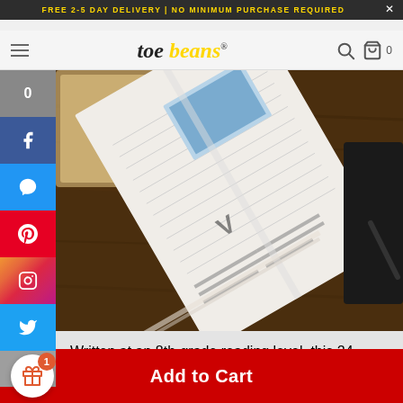FREE 2-5 DAY DELIVERY | NO MINIMUM PURCHASE REQUIRED
[Figure (screenshot): Toe Beans website logo with hamburger menu, search and cart icons in navigation bar]
[Figure (photo): Photo of an open book/guide on a wooden table surface, showing pages with text and illustrations]
Written at an 8th-grade reading level, this 24-chapter dog and cat parenting guide is intended for the beginner pet parent or
Add to Cart